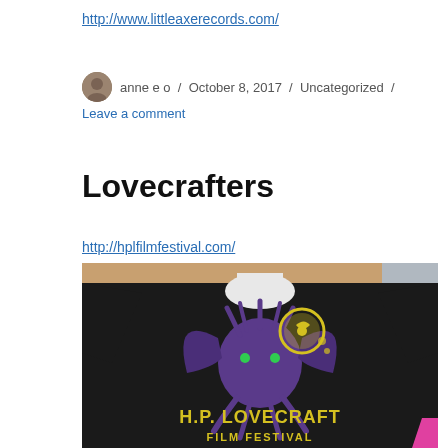http://www.littleaxerecords.com/
anne e o / October 8, 2017 / Uncategorized / Leave a comment
Lovecrafters
http://hplfilmfestival.com/
[Figure (photo): A black t-shirt laid flat on a wooden table. The shirt features a purple Cthulhu-like creature with wings and tentacles. Above the creature is a yellow circular emblem with swirl designs. Below the creature is yellow text reading 'H.P. LOVECRAFT FILM FESTIVAL'. A corner of a pink object is visible at the lower right edge.]